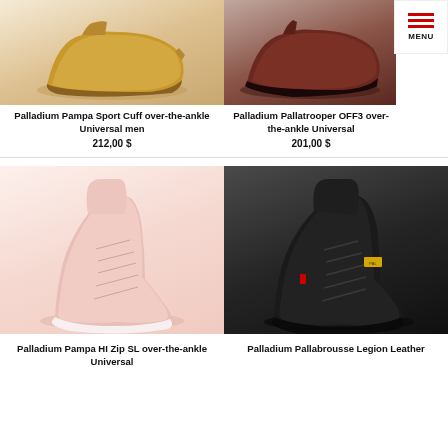[Figure (photo): Palladium Pampa Sport Cuff shoe - tan/wheat colored over-the-ankle boot, top portion visible]
[Figure (photo): Palladium Pallatrooper OFF3 shoe - dark brown/burgundy over-the-ankle boot, top portion visible]
Palladium Pampa Sport Cuff over-the-ankle Universal men 212,00 $
Palladium Pallatrooper OFF3 over-the-ankle Universal 201,00 $
[Figure (photo): Palladium Pampa HI Zip SL shoe - blush/pink over-the-ankle boot, full shoe visible]
[Figure (photo): Palladium Pallabrousse Legion Leather shoe - black leather over-the-ankle boot, full shoe visible]
Palladium Pampa HI Zip SL over-the-ankle Universal
Palladium Pallabrousse Legion Leather